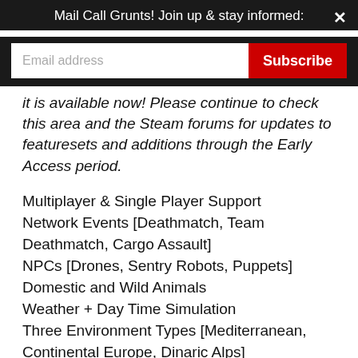Mail Call Grunts! Join up & stay informed:
it is available now! Please continue to check this area and the Steam forums for updates to featuresets and additions through the Early Access period.
Multiplayer & Single Player Support
Network Events [Deathmatch, Team Deathmatch, Cargo Assault]
NPCs [Drones, Sentry Robots, Puppets]
Domestic and Wild Animals
Weather + Day Time Simulation
Three Environment Types [Mediterranean, Continental Europe, Dinaric Alps]
Advanced Metabolism System
Inventory System
RPG Character Customization
Basic Visual Character Customization [Tattoos]
Character Leveling System [Experience Points]